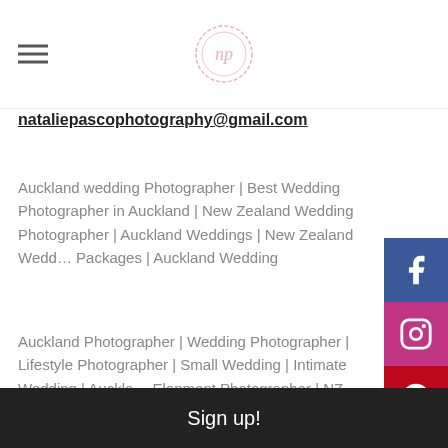nataliepasscophotography logo and hamburger menu
nataliepasscophotography@gmail.com
Auckland wedding Photographer | Best Wedding Photographer in Auckland | New Zealand Wedding Photographer | Auckland Weddings | New Zealand Wedding Packages | Auckland Wedding
Auckland Photographer | Wedding Photographer | Lifestyle Photographer | Small Wedding | Intimate Wedding | Auckland Elopment Photographer | NZ Wedding Photographer | Rotorua Wedding Photographer | Rotorua Photographers | Rotorua Wedding Photographer | Wedding Photographer Rotorua
Sign up!